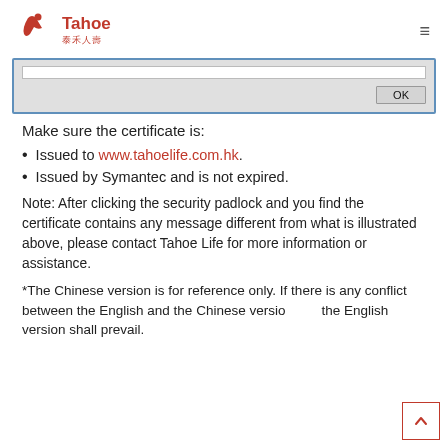Tahoe 泰禾人壽
[Figure (screenshot): Dialog box screenshot showing an input field and an OK button]
Make sure the certificate is:
Issued to www.tahoelife.com.hk.
Issued by Symantec and is not expired.
Note: After clicking the security padlock and you find the certificate contains any message different from what is illustrated above, please contact Tahoe Life for more information or assistance.
*The Chinese version is for reference only. If there is any conflict between the English and the Chinese version, the English version shall prevail.